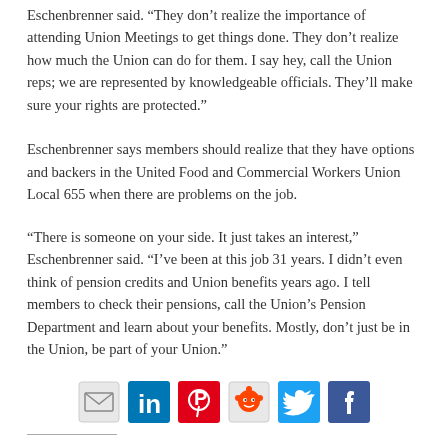Eschenbrenner said. “They don’t realize the importance of attending Union Meetings to get things done. They don’t realize how much the Union can do for them. I say hey, call the Union reps; we are represented by knowledgeable officials. They’ll make sure your rights are protected.”
Eschenbrenner says members should realize that they have options and backers in the United Food and Commercial Workers Union Local 655 when there are problems on the job.
“There is someone on your side. It just takes an interest,” Eschenbrenner said. “I’ve been at this job 31 years. I didn’t even think of pension credits and Union benefits years ago. I tell members to check their pensions, call the Union’s Pension Department and learn about your benefits. Mostly, don’t just be in the Union, be part of your Union.”
[Figure (infographic): Social sharing icons: email, LinkedIn, Pinterest, Reddit, Twitter, Facebook]